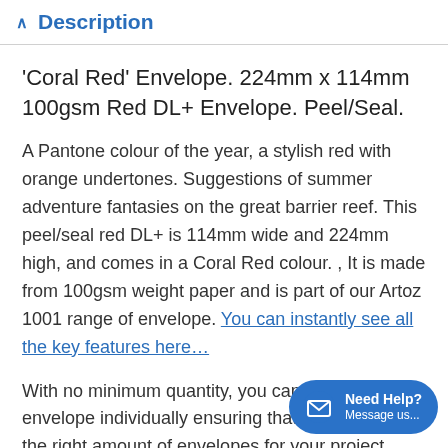Description
'Coral Red' Envelope. 224mm x 114mm 100gsm Red DL+ Envelope. Peel/Seal.
A Pantone colour of the year, a stylish red with orange undertones. Suggestions of summer adventure fantasies on the great barrier reef. This peel/seal red DL+ is 114mm wide and 224mm high, and comes in a Coral Red colour. , It is made from 100gsm weight paper and is part of our Artoz 1001 range of envelope. You can instantly see all the key features here…
With no minimum quantity, you can buy this envelope individually ensuring that you get exactly the right amount of envelopes for your project.